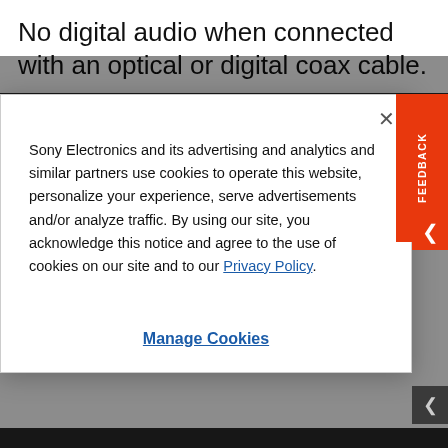No digital audio when connected with an optical or digital coax cable.
Careers   Contact Us   Company Info   Voluntary Recall
Sony Electronics and its advertising and analytics and similar partners use cookies to operate this website, personalize your experience, serve advertisements and/or analyze traffic. By using our site, you acknowledge this notice and agree to the use of cookies on our site and to our Privacy Policy.
Manage Cookies